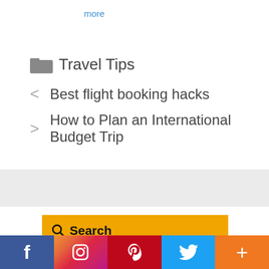more
Travel Tips
< Best flight booking hacks
> How to Plan an International Budget Trip
[Figure (screenshot): Search widget with yellow background, search input placeholder 'e.g. city, region, district or sp...', and Check-in date label]
[Figure (infographic): Social media share bar with Facebook, Instagram, Pinterest, Twitter, and More buttons]